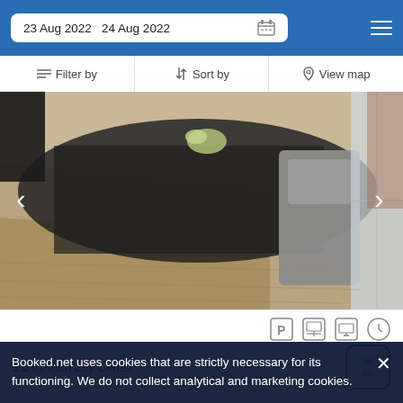23 Aug 2022  24 Aug 2022
Filter by  Sort by  View map
[Figure (photo): Interior photo of a modern furnished apartment/hotel room showing wooden floors, dark sofa, chairs, and a window with natural light.]
1.6 mi from City Center
Booked.net uses cookies that are strictly necessary for its functioning. We do not collect analytical and marketing cookies.